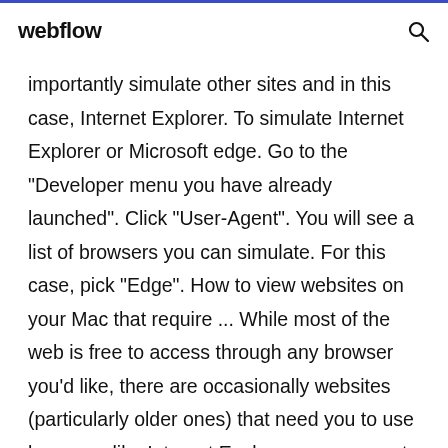webflow
importantly simulate other sites and in this case, Internet Explorer. To simulate Internet Explorer or Microsoft edge. Go to the "Developer menu you have already launched". Click "User-Agent". You will see a list of browsers you can simulate. For this case, pick "Edge". How to view websites on your Mac that require ... While most of the web is free to access through any browser you'd like, there are occasionally websites (particularly older ones) that need you to use browsers like Internet Explorer, or worse yet, would like you to be on a Windows PC. Or maybe you'd like to see how your site or web app presents itself in Safari on iPhone or iPad or Chrome...